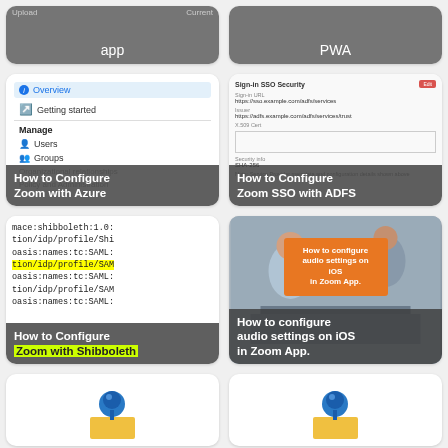[Figure (screenshot): App card with label 'app' on dark grey background]
[Figure (screenshot): PWA card with label 'PWA' on dark grey background]
[Figure (screenshot): Screenshot of Azure AD menu with Overview, Getting started, Manage sections]
How to Configure Zoom with Azure
[Figure (screenshot): Screenshot of Zoom SSO with ADFS configuration form]
How to Configure Zoom SSO with ADFS
[Figure (screenshot): Code block showing SAML/Shibboleth URNs with highlighted line]
How to Configure Zoom with Shibboleth
[Figure (screenshot): Photo of people at table with orange overlay box and caption about audio settings on iOS in Zoom App]
How to configure audio settings on iOS in Zoom App.
[Figure (illustration): Blue pushpin on yellow sticky note]
[Figure (illustration): Blue pushpin on yellow sticky note]